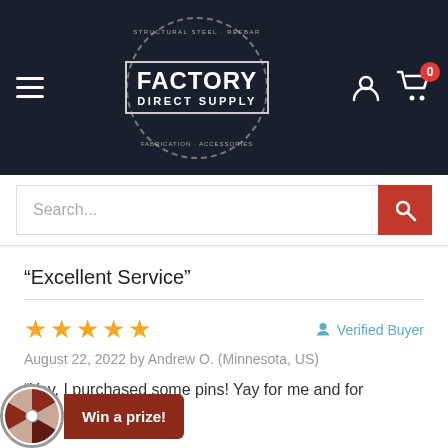[Figure (logo): Factory Direct Supply logo in a dark navy header with hamburger menu on left and user/cart icons on right]
Search...
“Excellent Service”
★★★★★  Verified Buyer
August 22, 2022 by Andrew O. (Minnesota, US)
“Yay, I purchased some pins! Yay for me and for factorydirectsupply!”
Win a prize!